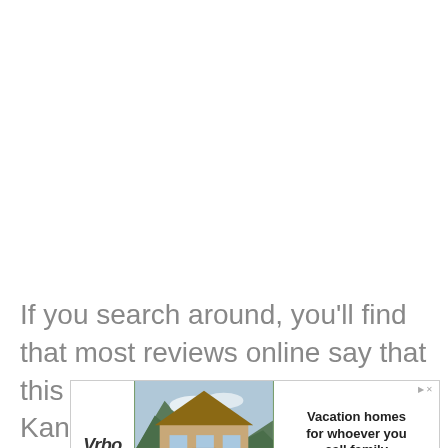If you search around, you'll find that most reviews online say that this is the case with Klean Kanteen's bottles. However, I haven't
[Figure (other): Vrbo vacation rental advertisement showing a mountain house with the text 'Vacation homes for whoever you call family' and a 'Find yours' button]